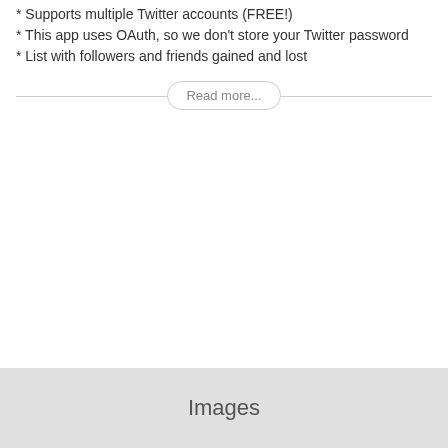* Supports multiple Twitter accounts (FREE!)
* This app uses OAuth, so we don't store your Twitter password
* List with followers and friends gained and lost
Read more...
Images